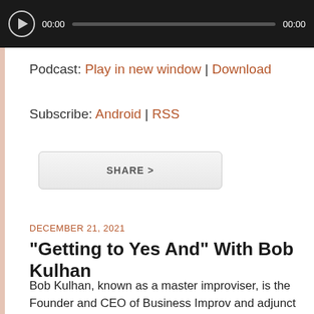[Figure (screenshot): Audio player bar with play button, time display 00:00, progress bar, and end time 00:00 on dark background]
Podcast: Play in new window | Download
Subscribe: Android | RSS
[Figure (other): SHARE > button with rounded rectangle border]
DECEMBER 21, 2021
“Getting to Yes And” With Bob Kulhan
Bob Kulhan, known as a master improviser, is the Founder and CEO of Business Improv and adjunct professor at Duke Fuqua School of Business and Columbia Business School. He is